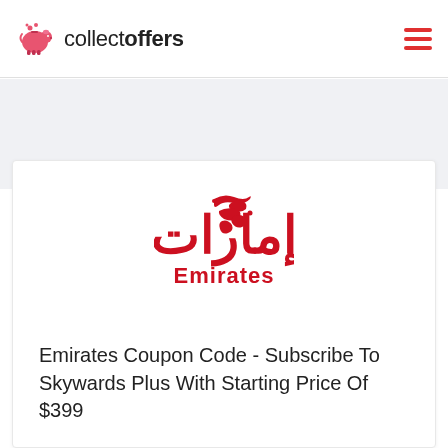collectoffers
[Figure (logo): Emirates airline logo with Arabic calligraphy above and red 'Emirates' text below]
Emirates Coupon Code - Subscribe To Skywards Plus With Starting Price Of $399